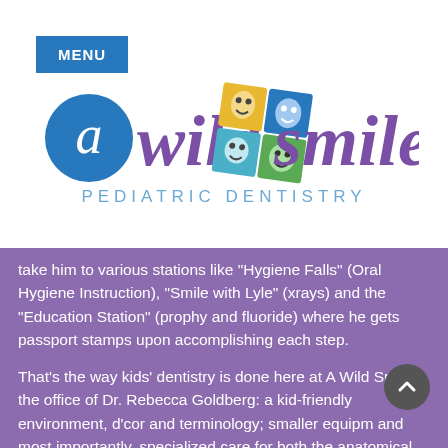[Figure (logo): A Wild Smile Pediatric Dentistry logo with purple cursive text, a blue circle with 'a', and colorful cartoon animal tile images in the center]
take him to various stations like "Hygiene Falls" (Oral Hygiene Instruction), "Smile with Lyle" (xrays) and the "Education Station" (prophy and fluoride) where he gets passport stamps upon accomplishing each step.
That's the way kids' dentistry is done here at A Wild Smile, the office of Dr. Rebecca Goldberg: a kid-friendly environment, d'cor and terminology; smaller equipm and most importantly, specialized care for both the anatomical differences of baby teeth and the specific behavioral needs of children. Dr. Rebecca and her staff